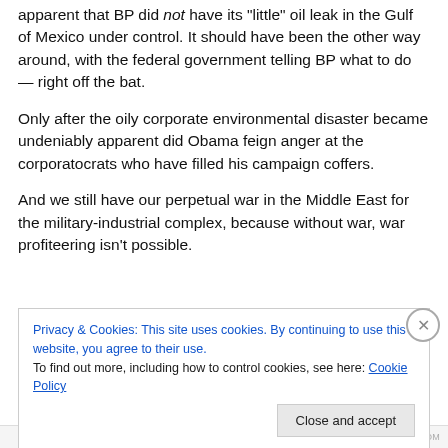apparent that BP did not have its "little" oil leak in the Gulf of Mexico under control. It should have been the other way around, with the federal government telling BP what to do — right off the bat.
Only after the oily corporate environmental disaster became undeniably apparent did Obama feign anger at the corporatocrats who have filled his campaign coffers.
And we still have our perpetual war in the Middle East for the military-industrial complex, because without war, war profiteering isn't possible.
Privacy & Cookies: This site uses cookies. By continuing to use this website, you agree to their use.
To find out more, including how to control cookies, see here: Cookie Policy